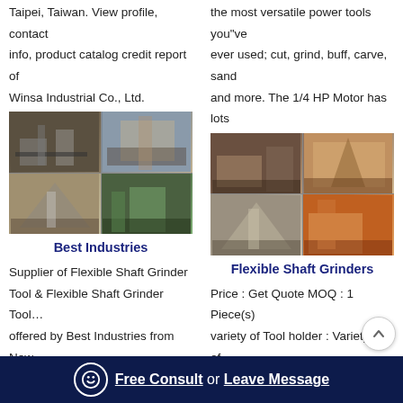Taipei, Taiwan. View profile, contact info, product catalog credit report of Winsa Industrial Co., Ltd.
[Figure (photo): Grid of 4 industrial crusher/mining equipment photos - Best Industries]
Best Industries
Supplier of Flexible Shaft Grinder Tool & Flexible Shaft Grinder Tool… offered by Best Industries from New Delhi,, India. View profile, contact info, product catalog credit report of Best Industries
the most versatile power tools you"ve ever used; cut, grind, buff, carve, sand and more. The 1/4 HP Motor has lots
[Figure (photo): Grid of 4 industrial crusher/mining equipment photos - Flexible Shaft Grinders]
Flexible Shaft Grinders
Price : Get Quote MOQ : 1 Piece(s) variety of Tool holder : Variety of… Shaft Material 3 Phase / Single Phase : Various RPM and Models We are offering flexible shaft grinder. Flexible shaft grinders are widely used in most
Free Consult or Leave Message